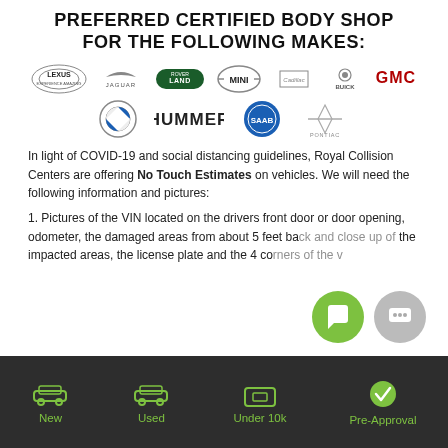PREFERRED CERTIFIED BODY SHOP FOR THE FOLLOWING MAKES:
[Figure (logo): Row of car brand logos: Lexus, Jaguar, Land Rover, Mini, Cadillac, Buick, GMC]
[Figure (logo): Row of car brand logos: BMW, Hummer, Saab, Pontiac]
In light of COVID-19 and social distancing guidelines, Royal Collision Centers are offering No Touch Estimates on vehicles. We will need the following information and pictures:
1. Pictures of the VIN located on the drivers front door or door opening, odometer, the damaged areas from about 5 feet back and close up of the impacted areas, the license plate and the 4 corners of the v...
[Figure (infographic): Dark footer bar with four icons and labels: New (car icon), Used (car icon), Under 10k (card/money icon), Pre-Approval (checkmark icon), all in green]